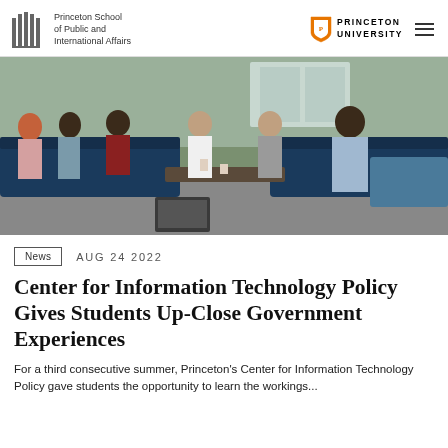Princeton School of Public and International Affairs | PRINCETON UNIVERSITY
[Figure (photo): Group of students sitting on couches and chairs in a casual meeting setting, engaged in discussion.]
News  AUG 24 2022
Center for Information Technology Policy Gives Students Up-Close Government Experiences
For a third consecutive summer, Princeton's Center for Information Technology Policy gave students the opportunity to learn the workings...